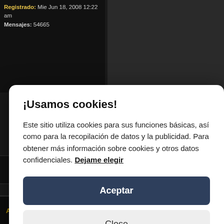Registrado: Mie Jun 18, 2008 12:22 am
Mensajes: 54665
¡Usamos cookies!
Este sitio utiliza cookies para sus funciones básicas, así como para la recopilación de datos y la publicidad. Para obtener más información sobre cookies y otros datos confidenciales. Dejame elegir
Aceptar
Close
Arriba
[Figure (screenshot): Profile button labeled 'perfil' with user icon]